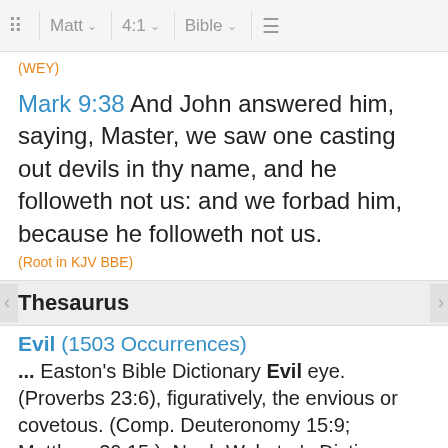Matt 4:1 Bible
(WEY)
Mark 9:38 And John answered him, saying, Master, we saw one casting out devils in thy name, and he followeth not us: and we forbad him, because he followeth not us.
(Root in KJV BBE)
Thesaurus
Evil (1503 Occurrences)
... Easton's Bible Dictionary Evil eye. (Proverbs 23:6), figuratively, the envious or covetous. (Comp. Deuteronomy 15:9; Matthew 20:15.). Noah Webster's Dictionary. ...
/e/evil.htm - 47k
Evil-speaking (5 Occurrences)
Evil-speaking, Evilspeaking, Evil-speaking, Evil-